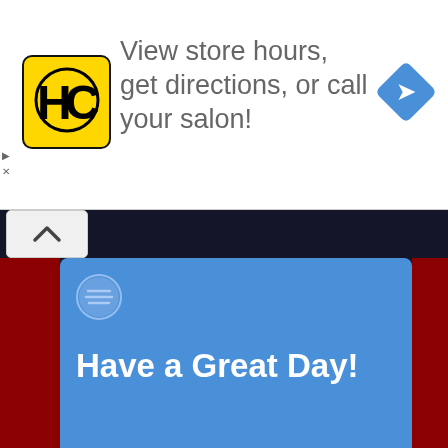[Figure (screenshot): Advertisement banner for HC (Hair Club or similar salon) with yellow/black logo, text 'View store hours, get directions, or call your salon!' and a blue diamond navigation arrow icon on the right]
[Figure (screenshot): Spotify promotional card with blue background, Spotify logo (circle with horizontal lines), bold white text 'Have a Great Day!' and a smiling woman with curly auburn hair, shown against dark maroon/red website background with collapse arrow button at top left]